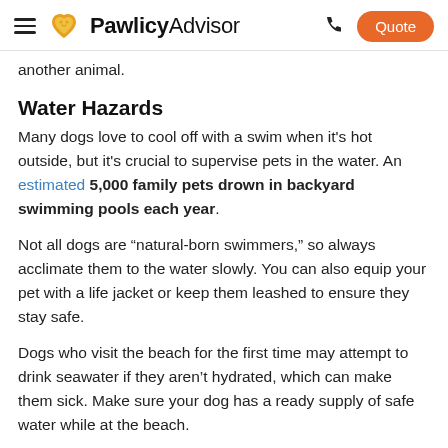PawlicyAdvisor — Quote
another animal.
Water Hazards
Many dogs love to cool off with a swim when it's hot outside, but it's crucial to supervise pets in the water. An estimated 5,000 family pets drown in backyard swimming pools each year.
Not all dogs are “natural-born swimmers,” so always acclimate them to the water slowly. You can also equip your pet with a life jacket or keep them leashed to ensure they stay safe.
Dogs who visit the beach for the first time may attempt to drink seawater if they aren’t hydrated, which can make them sick. Make sure your dog has a ready supply of safe water while at the beach.